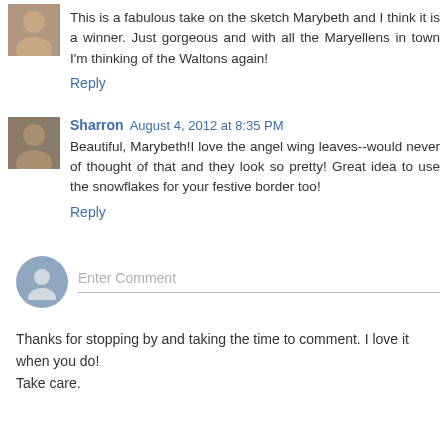This is a fabulous take on the sketch Marybeth and I think it is a winner. Just gorgeous and with all the Maryellens in town I'm thinking of the Waltons again!
Reply
Sharron August 4, 2012 at 8:35 PM
Beautiful, Marybeth!I love the angel wing leaves--would never of thought of that and they look so pretty! Great idea to use the snowflakes for your festive border too!
Reply
Enter Comment
Thanks for stopping by and taking the time to comment. I love it when you do!
Take care.